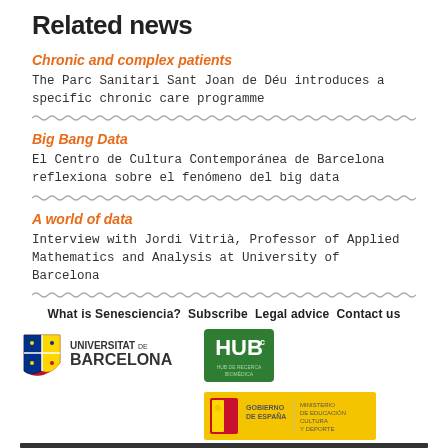Related news
Chronic and complex patients
The Parc Sanitari Sant Joan de Déu introduces a specific chronic care programme
Big Bang Data
El Centro de Cultura Contemporánea de Barcelona reflexiona sobre el fenómeno del big data
A world of data
Interview with Jordi Vitrià, Professor of Applied Mathematics and Analysis at University of Barcelona
What is Senesciencia?  Subscribe  Legal advice  Contact us
[Figure (logo): Universitat de Barcelona logo with shield emblem]
[Figure (logo): HUBc green logo]
[Figure (logo): Gobierno de España / Ministerio de Educación Cultura y Deporte logo in yellow and red]